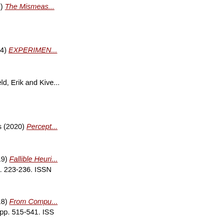Michel, Matthias (2018) The Mismeas... [Preprint]
Mikhalevich, Irina (2014) EXPERIMEN...
Miller, Mark and Rietveld, Erik and Kive... [Preprint]
Miller Tate, Alex James (2020) Percept...
Miłkowski, Marcin (2019) Fallible Heuri... Filozoficzny, 75 (2). pp. 223-236. ISSN
Miłkowski, Marcin (2018) From Compu... and Machines, 28 (3). pp. 515-541. ISS
Miłkowski, Marcin (2015) The Hard Pro... (1). pp. 73-88. ISSN 0860-150X
Miłkowski, Marcin (2016) Integrating co... Interdisciplinary Vanguard, VII (2). pp. 4...
Miłkowski, Marcin (2018) Objections to... 00357685
Miłkowski, Marcin (2017) Struct...